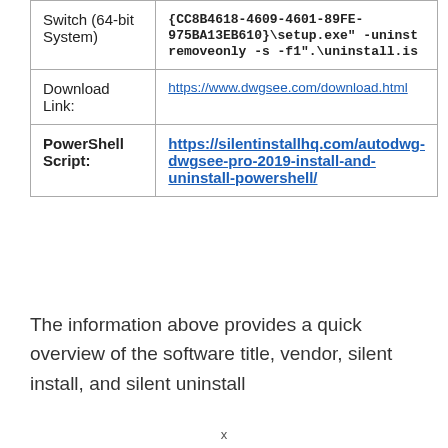| Switch (64-bit System) | {CC8B4618-4609-4601-89FE-975BA13EB610}\setup.exe" -uninst removeonly -s -f1".\uninstall.is |
| Download Link: | https://www.dwgsee.com/download.html |
| PowerShell Script: | https://silentinstallhq.com/autodwg-dwgsee-pro-2019-install-and-uninstall-powershell/ |
The information above provides a quick overview of the software title, vendor, silent install, and silent uninstall